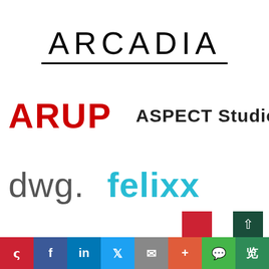[Figure (logo): ARCADIA logo — large black uppercase letters with a horizontal rule beneath]
[Figure (logo): ARUP logo — large bold red uppercase letters]
[Figure (logo): ASPECT Studios logo — bold dark uppercase text]
[Figure (logo): dwg. logo — grey lowercase letters with period]
[Figure (logo): felixx logo — cyan/teal bold lowercase letters]
[Figure (other): Social sharing bar at the bottom: Pinterest, Facebook, LinkedIn, Twitter, Mail, Plus, WeChat, Douban]